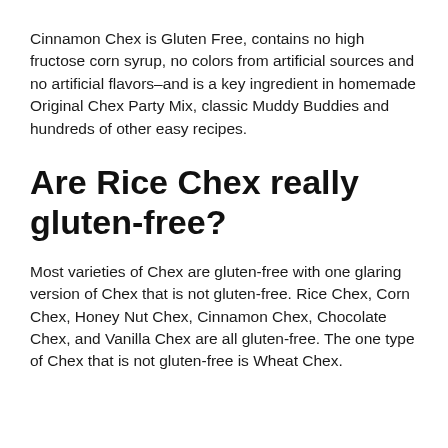Cinnamon Chex is Gluten Free, contains no high fructose corn syrup, no colors from artificial sources and no artificial flavors–and is a key ingredient in homemade Original Chex Party Mix, classic Muddy Buddies and hundreds of other easy recipes.
Are Rice Chex really gluten-free?
Most varieties of Chex are gluten-free with one glaring version of Chex that is not gluten-free. Rice Chex, Corn Chex, Honey Nut Chex, Cinnamon Chex, Chocolate Chex, and Vanilla Chex are all gluten-free. The one type of Chex that is not gluten-free is Wheat Chex.